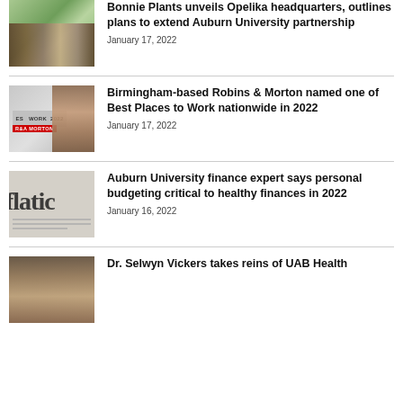[Figure (photo): Group of people at a ribbon cutting ceremony in front of a building with greenery]
Bonnie Plants unveils Opelika headquarters, outlines plans to extend Auburn University partnership
January 17, 2022
[Figure (photo): Person in hard hat standing in front of a Best Places to Work 2022 banner with Robins & Morton logo]
Birmingham-based Robins & Morton named one of Best Places to Work nationwide in 2022
January 17, 2022
[Figure (photo): Close-up of a newspaper or document showing the word 'flation' (inflation)]
Auburn University finance expert says personal budgeting critical to healthy finances in 2022
January 16, 2022
[Figure (photo): Dr. Selwyn Vickers portrait photo]
Dr. Selwyn Vickers takes reins of UAB Health